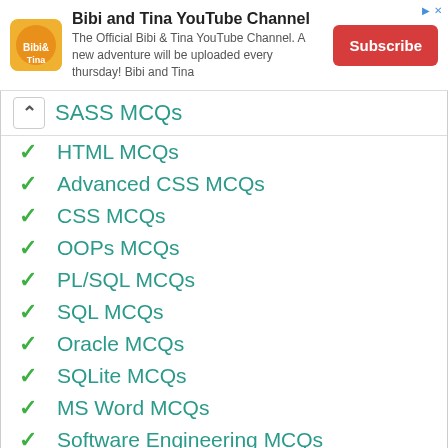[Figure (screenshot): Bibi and Tina YouTube Channel advertisement banner with logo, description text, and Subscribe button]
SASS MCQs
HTML MCQs
Advanced CSS MCQs
CSS MCQs
OOPs MCQs
PL/SQL MCQs
SQL MCQs
Oracle MCQs
SQLite MCQs
MS Word MCQs
Software Engineering MCQs
Operating System MCQs
Data Analytics and Visualization MCQs
MIS MCQs
Linux MCQs